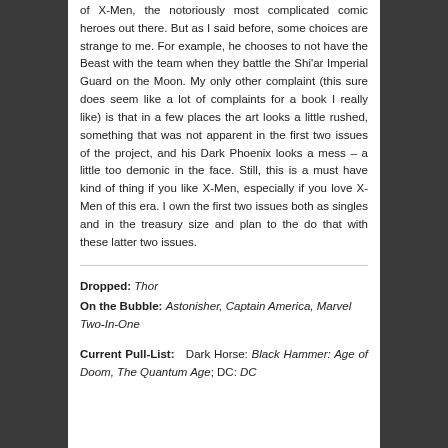of X-Men, the notoriously most complicated comic heroes out there. But as I said before, some choices are strange to me. For example, he chooses to not have the Beast with the team when they battle the Shi'ar Imperial Guard on the Moon. My only other complaint (this sure does seem like a lot of complaints for a book I really like) is that in a few places the art looks a little rushed, something that was not apparent in the first two issues of the project, and his Dark Phoenix looks a mess – a little too demonic in the face. Still, this is a must have kind of thing if you like X-Men, especially if you love X-Men of this era. I own the first two issues both as singles and in the treasury size and plan to the do that with these latter two issues.
Dropped: Thor
On the Bubble: Astonisher, Captain America, Marvel Two-In-One
Current Pull-List: Dark Horse: Black Hammer: Age of Doom, The Quantum Age; DC: DC